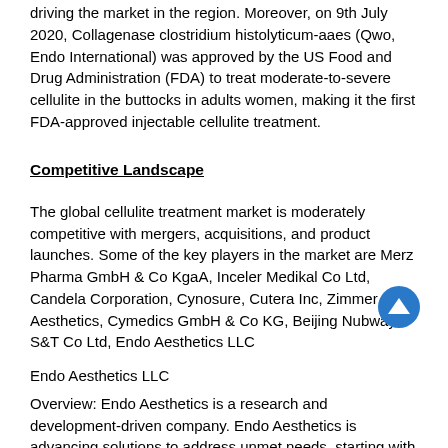driving the market in the region. Moreover, on 9th July 2020, Collagenase clostridium histolyticum-aaes (Qwo, Endo International) was approved by the US Food and Drug Administration (FDA) to treat moderate-to-severe cellulite in the buttocks in adults women, making it the first FDA-approved injectable cellulite treatment.
Competitive Landscape
The global cellulite treatment market is moderately competitive with mergers, acquisitions, and product launches. Some of the key players in the market are Merz Pharma GmbH & Co KgaA, Inceler Medikal Co Ltd, Candela Corporation, Cynosure, Cutera Inc, Zimmer Aesthetics, Cymedics GmbH & Co KG, Beijing Nubway S&T Co Ltd, Endo Aesthetics LLC
Endo Aesthetics LLC
Overview: Endo Aesthetics is a research and development-driven company. Endo Aesthetics is advancing solutions to address unmet needs, starting with the first FDA-approved injectable treatment for buttock cellulite.